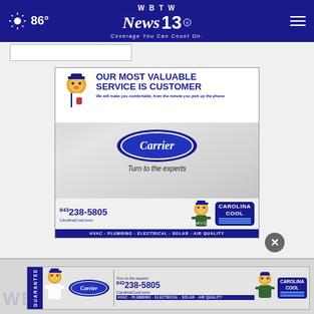86° WBTW News 13 Coverage You Can Count On.
[Figure (screenshot): Search bar input field stub]
[Figure (illustration): Carolina Cool / Carrier HVAC advertisement. Text: OUR MOST VALUABLE SERVICE IS CUSTOMER. We will make you comfortable, from the minute you pick up the phone. Carrier logo oval. Turn to the experts. 843 238-5805 CarolinaCool.com. That's Cool. CAROLINA COOL. HVAC · PLUMBING · ELECTRICAL · SOLAR · AIR QUALITY]
[Figure (illustration): Bottom banner ad: GUARANTEE. Carrier mascot. Carrier oval logo. Turn to the experts. 843 238-5805 CarolinaCool.com. That's Cool. CAROLINA COOL. HVAC · PLUMBING · ELECTRICAL · SOLAR · AIR QUALITY]